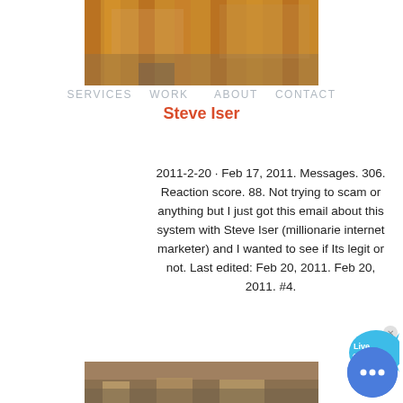[Figure (photo): Industrial/construction photo with orange pillars and machinery at top]
SERVICES   WORK   ABOUT   CONTACT
Steve Iser
2011-2-20 · Feb 17, 2011. Messages. 306. Reaction score. 88. Not trying to scam or anything but I just got this email about this system with Steve Iser (millionarie internet marketer) and I wanted to see if Its legit or not. Last edited: Feb 20, 2011. Feb 20, 2011. #4.
[Figure (screenshot): Live Chat bubble icon - teal speech bubble with 'Live Chat' text]
[Figure (infographic): Color sidebar showing COLOR: label with Orange (red-orange), Blue (teal), Yellow swatches]
[Figure (screenshot): Blue circular chat button with ellipsis dots]
[Figure (photo): Archaeological/ruins photo at the bottom showing stone structures]